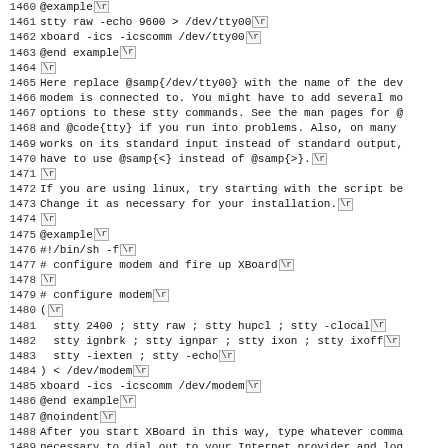Source code / documentation listing, lines 1460-1491, showing xboard ICS modem configuration example with @example, stty and xboard commands, and shell script for modem setup.